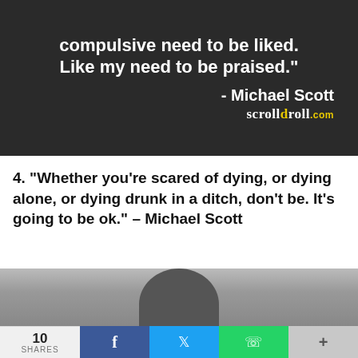[Figure (photo): Dark background image with a person in a suit. White bold text overlay reads: 'compulsive need to be liked. Like my need to be praised.' followed by '- Michael Scott' and 'scrolldroll.com']
4. "Whether you're scared of dying, or dying alone, or dying drunk in a ditch, don't be. It's going to be ok." – Michael Scott
[Figure (photo): Partially visible photo of a person with dark hair against a light grey background]
10 SHARES | f | tweet | whatsapp | +